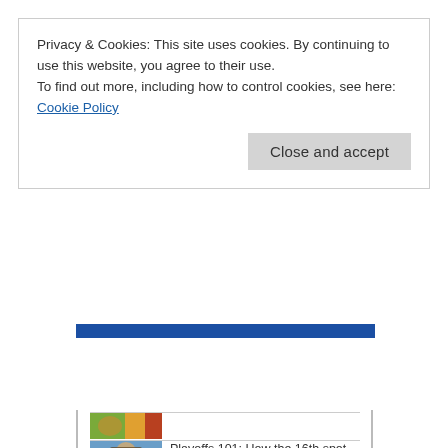Privacy & Cookies: This site uses cookies. By continuing to use this website, you agree to their use.
To find out more, including how to control cookies, see here:
Cookie Policy
Close and accept
[Figure (other): Blue horizontal bar used as a section divider or loading bar element on the webpage]
[Figure (photo): Thumbnail image showing a colorful photo (appears to be a person with colored accessories)]
[Figure (photo): Thumbnail image showing a person with a hat]
Playoffs 101: How the 16th spot